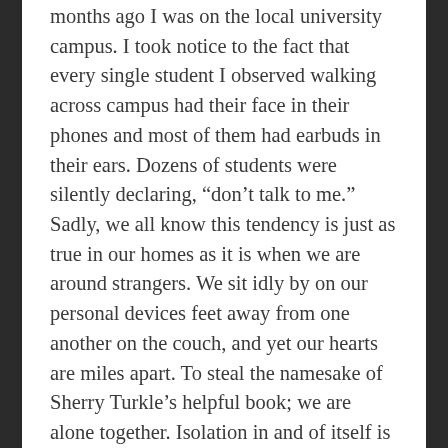months ago I was on the local university campus. I took notice to the fact that every single student I observed walking across campus had their face in their phones and most of them had earbuds in their ears. Dozens of students were silently declaring, “don’t talk to me.” Sadly, we all know this tendency is just as true in our homes as it is when we are around strangers. We sit idly by on our personal devices feet away from one another on the couch, and yet our hearts are miles apart. To steal the namesake of Sherry Turkle’s helpful book; we are alone together. Isolation in and of itself is not sinful. Jesus himself would isolate on occasion for reflection and prayer. Yet we know that when Adam was in the Garden, even in perfect fellowship with God, it was not good for him to be alone.